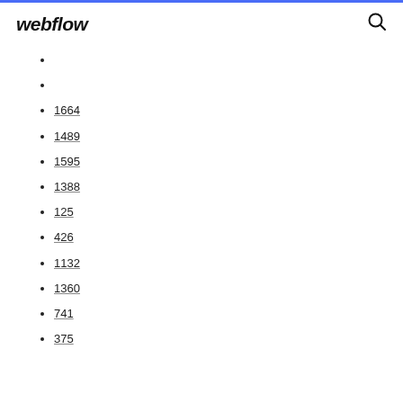webflow
1664
1489
1595
1388
125
426
1132
1360
741
375